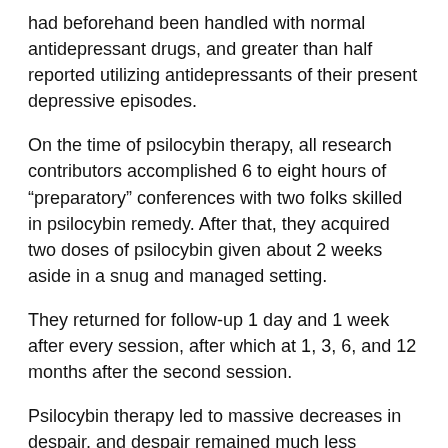had beforehand been handled with normal antidepressant drugs, and greater than half reported utilizing antidepressants of their present depressive episodes.
On the time of psilocybin therapy, all research contributors accomplished 6 to eight hours of “preparatory” conferences with two folks skilled in psilocybin remedy. After that, they acquired two doses of psilocybin given about 2 weeks aside in a snug and managed setting.
They returned for follow-up 1 day and 1 week after every session, after which at 1, 3, 6, and 12 months after the second session.
Psilocybin therapy led to massive decreases in despair, and despair remained much less extreme as much as 12 months after therapy.
There have been no critical negative effects associated to